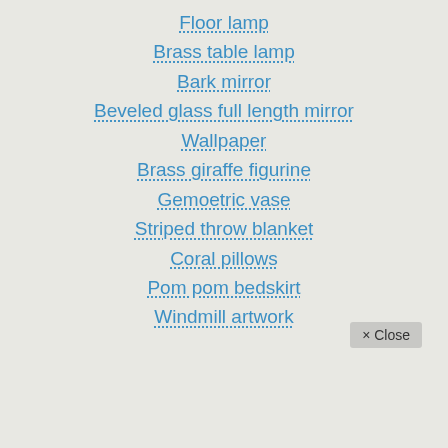Floor lamp
Brass table lamp
Bark mirror
Beveled glass full length mirror
Wallpaper
Brass giraffe figurine
Gemoetric vase
Striped throw blanket
Coral pillows
Pom pom bedskirt
Windmill artwork
× Close